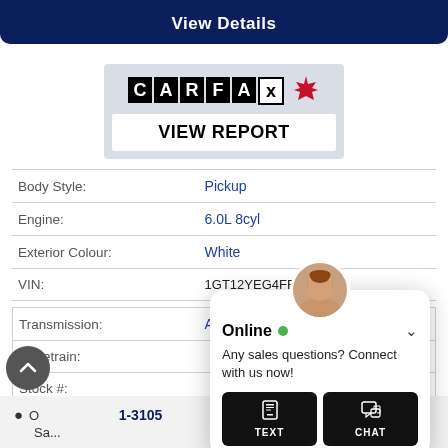View Details
[Figure (logo): CARFAX Canada logo with maple leaf]
VIEW REPORT
| Body Style: | Pickup |
| Engine: | 6.0L 8cyl |
| Exterior Colour: | White |
| VIN: | 1GT12YEG4FF625073 |
| Transmission: | Automatic |
| Drivetrain: |  |
| Stock #: |  |
| City: |  |
Online • Any sales questions? Connect with us now!
1-3105
Sa...